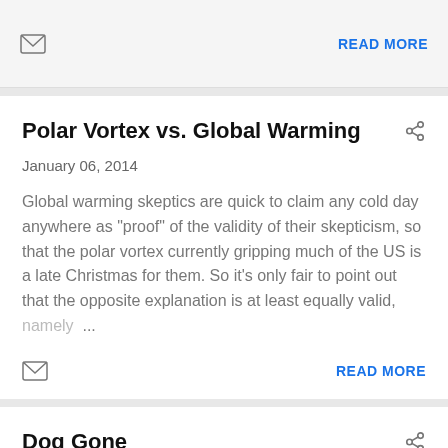READ MORE
Polar Vortex vs. Global Warming
January 06, 2014
Global warming skeptics are quick to claim any cold day anywhere as "proof" of the validity of their skepticism, so that the polar vortex currently gripping much of the US is a late Christmas for them. So it's only fair to point out that the opposite explanation is at least equally valid, namely ...
READ MORE
Dog Gone